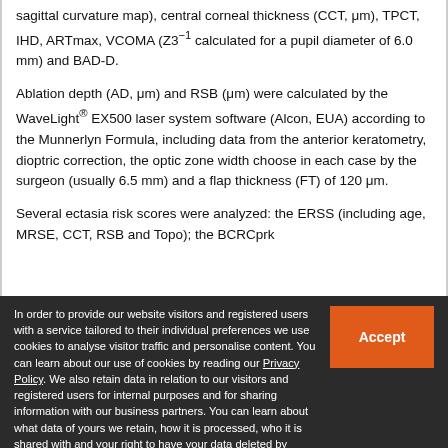sagittal curvature map), central corneal thickness (CCT, μm), TPCT, IHD, ARTmax, VCOMA (Z3⁻¹ calculated for a pupil diameter of 6.0 mm) and BAD-D.
Ablation depth (AD, μm) and RSB (μm) were calculated by the WaveLight® EX500 laser system software (Alcon, EUA) according to the Munnerlyn Formula, including data from the anterior keratometry, dioptric correction, the optic zone width choose in each case by the surgeon (usually 6.5 mm) and a flap thickness (FT) of 120 μm.
Several ectasia risk scores were analyzed: the ERSS (including age, MRSE, CCT, RSB and Topo); the BCRCprk
In order to provide our website visitors and registered users with a service tailored to their individual preferences we use cookies to analyse visitor traffic and personalise content. You can learn about our use of cookies by reading our Privacy Policy. We also retain data in relation to our visitors and registered users for internal purposes and for sharing information with our business partners. You can learn about what data of yours we retain, how it is processed, who it is shared with and your right to have your data deleted by reading our Privacy Policy. If you agree to our use of cookies and the contents of our Privacy Policy please click 'accept'.